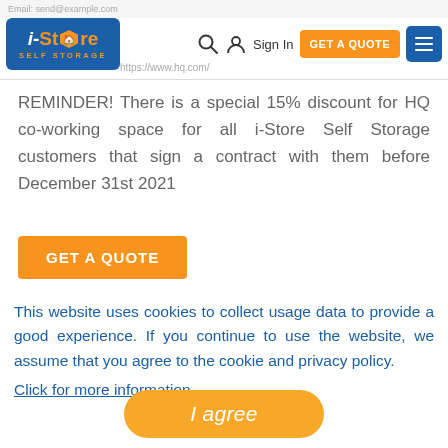i-Store Self Storage navigation header
REMINDER! There is a special 15% discount for HQ co-working space for all i-Store Self Storage customers that sign a contract with them before December 31st 2021
GET A QUOTE
This website uses cookies to collect usage data to provide a good experience. If you continue to use the website, we assume that you agree to the cookie and privacy policy. Click for more information
I agree